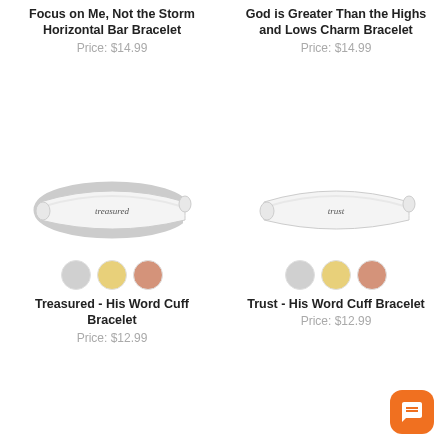Focus on Me, Not the Storm Horizontal Bar Bracelet
Price: $14.99
[Figure (photo): Silver cuff bracelet engraved with 'treasured' in cursive script]
[Figure (illustration): Three color swatches: silver, gold, rose gold]
Treasured - His Word Cuff Bracelet
Price: $12.99
God is Greater Than the Highs and Lows Charm Bracelet
Price: $14.99
[Figure (photo): Silver cuff bracelet engraved with 'trust' in cursive script]
[Figure (illustration): Three color swatches: silver, gold, rose gold]
Trust - His Word Cuff Bracelet
Price: $12.99